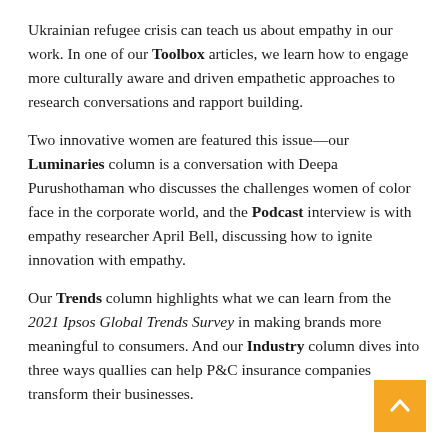Ukrainian refugee crisis can teach us about empathy in our work. In one of our Toolbox articles, we learn how to engage more culturally aware and driven empathetic approaches to research conversations and rapport building.
Two innovative women are featured this issue—our Luminaries column is a conversation with Deepa Purushothaman who discusses the challenges women of color face in the corporate world, and the Podcast interview is with empathy researcher April Bell, discussing how to ignite innovation with empathy.
Our Trends column highlights what we can learn from the 2021 Ipsos Global Trends Survey in making brands more meaningful to consumers. And our Industry column dives into three ways quallies can help P&C insurance companies transform their businesses.
[Figure (other): Orange/yellow square button with white upward-pointing chevron arrow]